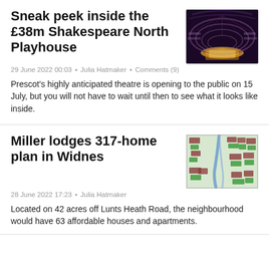Sneak peek inside the £38m Shakespeare North Playhouse
29 June 2022 00:03 • Julia Hatmaker • Comments (9)
[Figure (photo): Interior of the Shakespeare North Playhouse theatre, circular amphitheater with warm lighting]
Prescot's highly anticipated theatre is opening to the public on 15 July, but you will not have to wait until then to see what it looks like inside.
Miller lodges 317-home plan in Widnes
28 June 2022 17:23 • Julia Hatmaker
[Figure (map): Aerial map showing a 317-home residential development plan in Widnes, with green building footprints and blue roads]
Located on 42 acres off Lunts Heath Road, the neighbourhood would have 63 affordable houses and apartments.